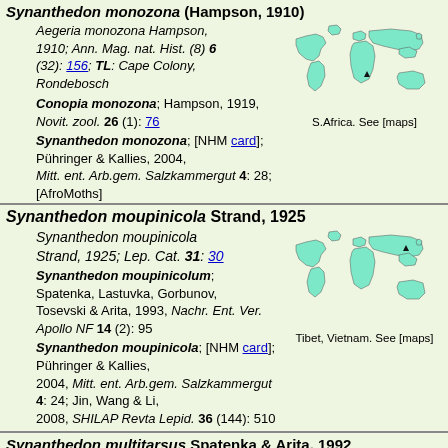Synanthedon monozona (Hampson, 1910)
Aegeria monozona Hampson, 1910; Ann. Mag. nat. Hist. (8) 6 (32): 156; TL: Cape Colony, Rondebosch
Conopia monozona; Hampson, 1919, Novit. zool. 26 (1): 76
Synanthedon monozona; [NHM card]; Pühringer & Kallies, 2004, Mitt. ent. Arb.gem. Salzkammergut 4: 28; [AfroMoths]
[Figure (map): World map showing distribution in S.Africa]
S.Africa. See [maps]
Synanthedon moupinicola Strand, 1925
Synanthedon moupinicola Strand, 1925; Lep. Cat. 31: 30
Synanthedon moupinicolum; Spatenka, Lastuvka, Gorbunov, Tosevski & Arita, 1993, Nachr. Ent. Ver. Apollo NF 14 (2): 95
Synanthedon moupinicola; [NHM card]; Pühringer & Kallies, 2004, Mitt. ent. Arb.gem. Salzkammergut 4: 24; Jin, Wang & Li, 2008, SHILAP Revta Lepid. 36 (144): 510
[Figure (map): World map showing distribution in Tibet, Vietnam]
Tibet, Vietnam. See [maps]
Synanthedon multitarsus Spatenka & Arita, 1992
Synanthedon multitarsus Spatenka & Arita, 1992; Tyô to Ga 43 (2): 96; TL: Japan, Hokkaido, Shari-gun, Koshimizu-cho, Miwa
Synanthedon multitarsus; Spatenka
[Figure (map): World map showing distribution in Japan]
Japan. See [maps]